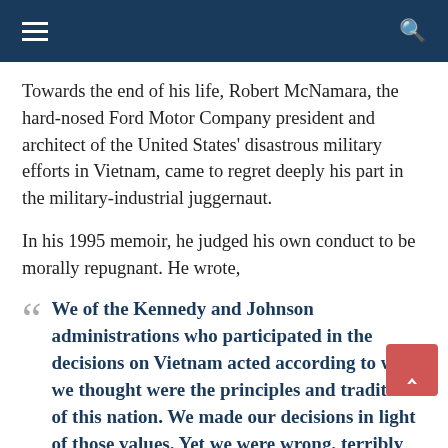Navigation bar with hamburger menu and search icon
Towards the end of his life, Robert McNamara, the hard-nosed Ford Motor Company president and architect of the United States' disastrous military efforts in Vietnam, came to regret deeply his part in the military-industrial juggernaut.
In his 1995 memoir, he judged his own conduct to be morally repugnant. He wrote,
We of the Kennedy and Johnson administrations who participated in the decisions on Vietnam acted according to what we thought were the principles and traditions of this nation. We made our decisions in light of those values. Yet we were wrong, terribly wrong.
In interviews with the filmmaker Errol Morris, McNamara admitted, obliquely, to losing sight of the